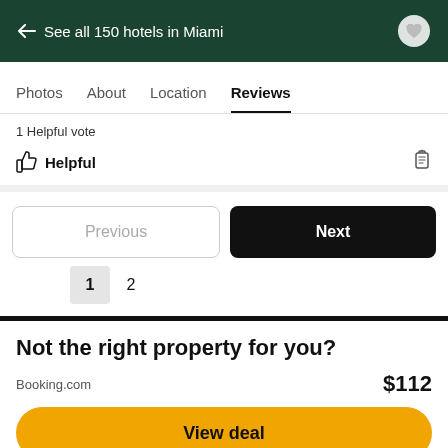← See all 150 hotels in Miami
Photos  About  Location  Reviews
1 Helpful vote
Helpful
Previous  Next
1  2
Not the right property for you?
Booking.com  $112
View deal
Special offer